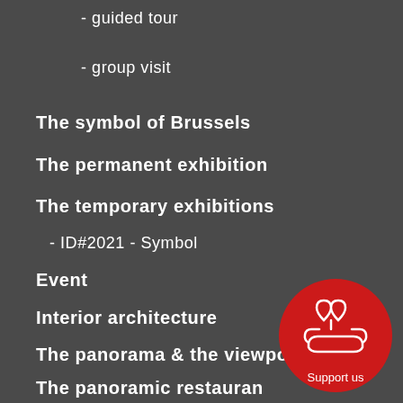- guided tour
- group visit
The symbol of Brussels
The permanent exhibition
The temporary exhibitions
- ID#2021 - Symbol
Event
Interior architecture
The panorama & the viewpoint
The panoramic restaurant
The RockGrowth
The Kids' Sphere
[Figure (illustration): Red circle button with hand holding heart icon and 'Support us' text]